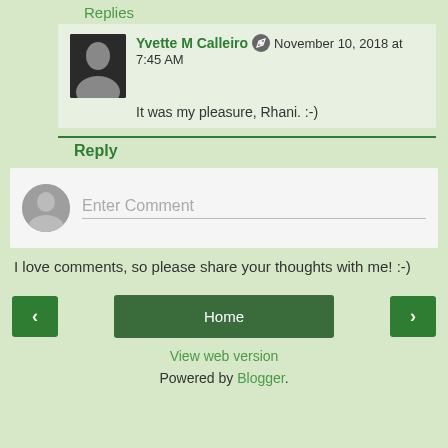Replies
Yvette M Calleiro • November 10, 2018 at 7:45 AM
It was my pleasure, Rhani. :-)
Reply
Enter Comment
I love comments, so please share your thoughts with me! :-)
‹
Home
›
View web version
Powered by Blogger.